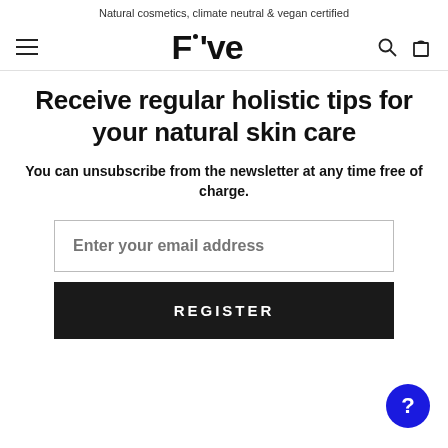Natural cosmetics, climate neutral & vegan certified
[Figure (logo): Five cosmetics brand logo showing 'F've' with a dot above the apostrophe, flanked by hamburger menu icon on left and search/cart icons on right]
Receive regular holistic tips for your natural skin care
You can unsubscribe from the newsletter at any time free of charge.
Enter your email address
REGISTER